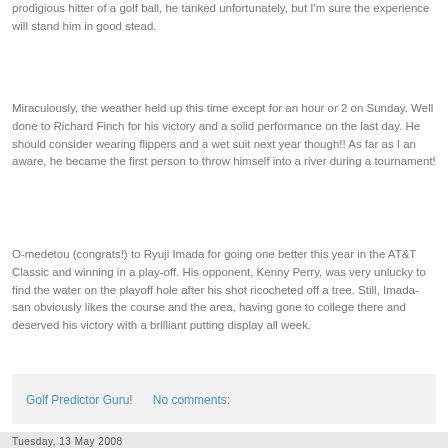prodigious hitter of a golf ball, he tanked unfortunately, but I'm sure the experience will stand him in good stead.
Miraculously, the weather held up this time except for an hour or 2 on Sunday. Well done to Richard Finch for his victory and a solid performance on the last day. He should consider wearing flippers and a wet suit next year though!! As far as I an aware, he became the first person to throw himself into a river during a tournament!
O-medetou (congrats!) to Ryuji Imada for going one better this year in the AT&T Classic and winning in a play-off. His opponent, Kenny Perry, was very unlucky to find the water on the playoff hole after his shot ricocheted off a tree. Still, Imada-san obviously likes the course and the area, having gone to college there and deserved his victory with a brilliant putting display all week.
Golf Predictor Guru!    No comments:
Tuesday, 13 May 2008